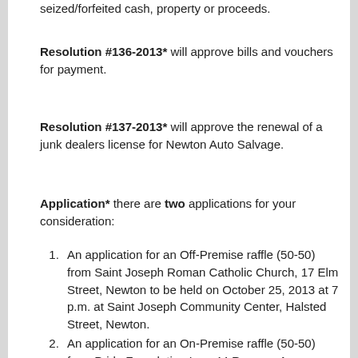seized/forfeited cash, property or proceeds.
Resolution #136-2013* will approve bills and vouchers for payment.
Resolution #137-2013* will approve the renewal of a junk dealers license for Newton Auto Salvage.
Application* there are two applications for your consideration:
An application for an Off-Premise raffle (50-50) from Saint Joseph Roman Catholic Church, 17 Elm Street, Newton to be held on October 25, 2013 at 7 p.m. at Saint Joseph Community Center, Halsted Street, Newton.
An application for an On-Premise raffle (50-50) from Pride Foundation Inc., 44 Ryerson Avenue, Newton to be held on September 12, 2013 at 7 p.m.; September 27, 2013 at 7 p.m.; November 1